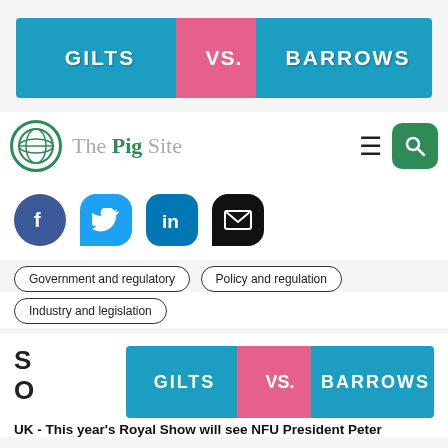[Figure (infographic): Banner advertisement reading GILTS VS. BARROWS with teal background and pink center panel]
[Figure (logo): The Pig Site logo with green globe icon and site name, navigation hamburger menu and green search button]
[Figure (infographic): Social media sharing icons: Facebook, Twitter, LinkedIn, Email]
Government and regulatory
Policy and regulation
Industry and legislation
S... O...
[Figure (infographic): Second GILTS VS. BARROWS banner overlapping article title area]
UK - This year's Royal Show will see NFU President Peter